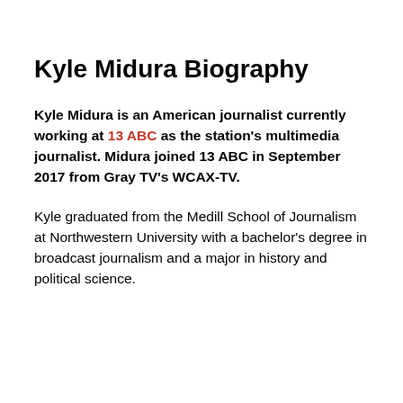Kyle Midura Biography
Kyle Midura is an American journalist currently working at 13 ABC as the station's multimedia journalist. Midura joined 13 ABC in September 2017 from Gray TV's WCAX-TV.
Kyle graduated from the Medill School of Journalism at Northwestern University with a bachelor's degree in broadcast journalism and a major in history and political science.